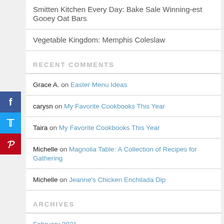Smitten Kitchen Every Day: Bake Sale Winning-est Gooey Oat Bars
Vegetable Kingdom: Memphis Coleslaw
RECENT COMMENTS
Grace A. on Easter Menu Ideas
carysn on My Favorite Cookbooks This Year
Taira on My Favorite Cookbooks This Year
Michelle on Magnolia Table: A Collection of Recipes for Gathering
Michelle on Jeanne's Chicken Enchilada Dip
ARCHIVES
February 2021